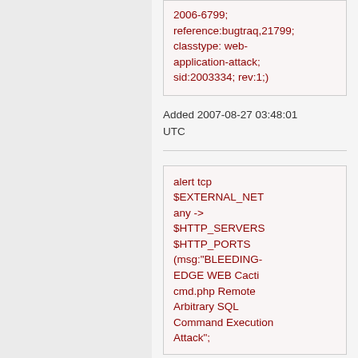2006-6799; reference:bugtraq,21799; classtype: web-application-attack; sid:2003334; rev:1;)
Added 2007-08-27 03:48:01 UTC
alert tcp $EXTERNAL_NET any -> $HTTP_SERVERS $HTTP_PORTS (msg:"BLEEDING-EDGE WEB Cacti cmd.php Remote Arbitrary SQL Command Execution Attack";